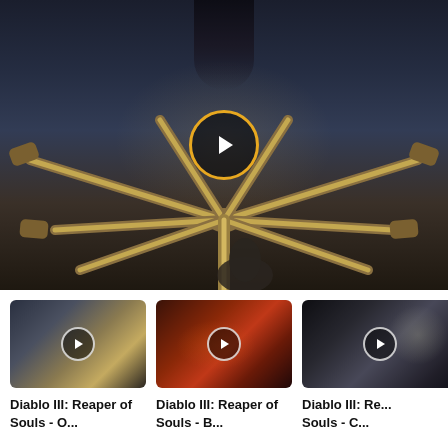[Figure (screenshot): Main video player showing Diablo III: Reaper of Souls cinematic scene with metallic skeletal arms/claws in a dark atmospheric setting, with a circular gold-bordered play button overlay in the center]
[Figure (screenshot): Thumbnail 1: Diablo III Reaper of Souls scene showing metallic claw structure, with small play button overlay]
Diablo III: Reaper of Souls - O...
[Figure (screenshot): Thumbnail 2: Diablo III Reaper of Souls scene showing dark red cavern with figures, with small play button overlay]
Diablo III: Reaper of Souls - B...
[Figure (screenshot): Thumbnail 3: Diablo III Reaper of Souls scene showing dark cinematic with person, with small play button overlay]
Diablo III: Re... Souls - C...